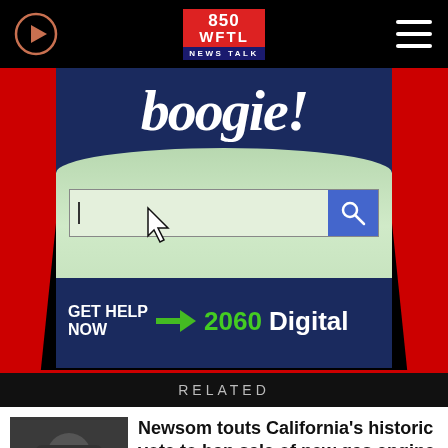850 WFTL NEWS TALK
[Figure (screenshot): 2060 Digital advertisement showing 'boogie!' text, a search bar with cursor, and 'GET HELP NOW' call to action]
RELATED
[Figure (photo): Photo of a man wearing a baseball cap and dark clothing]
Newsom touts California's historic vote to ban sale of new gas engine cars by 2035